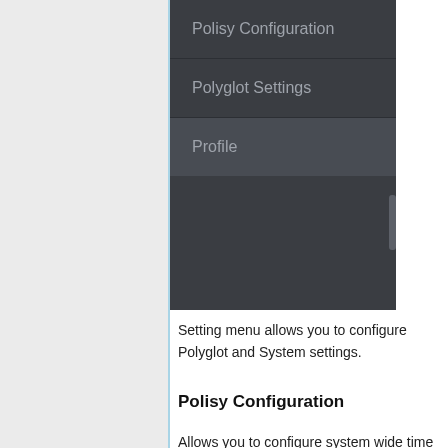[Figure (screenshot): Dark-themed settings navigation menu showing three items: Polisy Configuration, Polyglot Settings, Profile (highlighted)]
Setting menu allows you to configure Polyglot and System settings.
Polisy Configuration
Allows you to configure system wide time zone and network settings:
[Figure (screenshot): Dark UI panel showing Timezone section with Current Timezone field set to USA, CA, Los Angeles and Change Timezone field with USA, CA, Los Ange... dropdown]